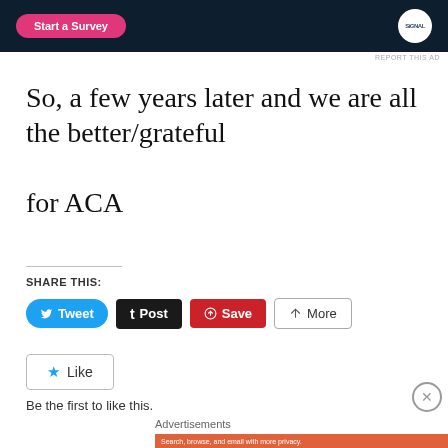[Figure (screenshot): Top advertisement banner with dark navy background, pink 'Start a Survey' button and circular Signal badge logo]
REPORT THIS AD
So, a few years later and we are all the better/grateful

for ACA
SHARE THIS:
[Figure (other): Social share buttons: Tweet (blue), Post (black), Save (red), More (outlined)]
[Figure (other): Like button with blue star icon]
Be the first to like this.
Advertisements
[Figure (screenshot): DuckDuckGo advertisement banner: orange background with text 'Search, browse, and email with more privacy. All in One Free App' and DuckDuckGo logo on dark panel]